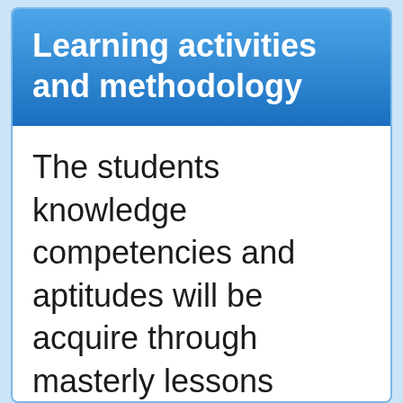Learning activities and methodology
The students knowledge competencies and aptitudes will be acquire through masterly lessons